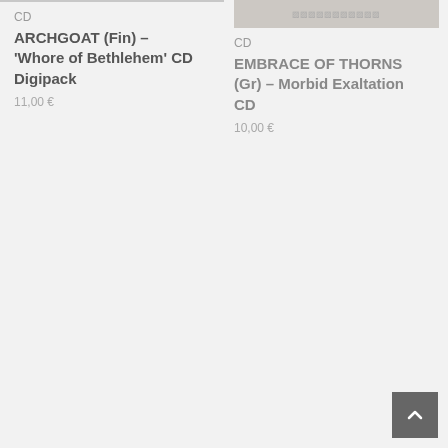[Figure (photo): Partial product image at top of right column for Embrace of Thorns CD]
CD
ARCHGOAT (Fin) – 'Whore of Bethlehem' CD Digipack
11,00 €
CD
EMBRACE OF THORNS (Gr) – Morbid Exaltation CD
10,00 €